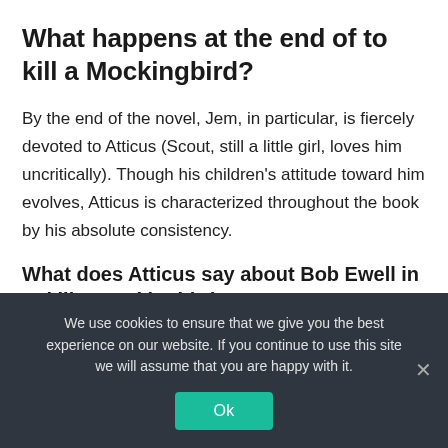What happens at the end of to kill a Mockingbird?
By the end of the novel, Jem, in particular, is fiercely devoted to Atticus (Scout, still a little girl, loves him uncritically). Though his children’s attitude toward him evolves, Atticus is characterized throughout the book by his absolute consistency.
What does Atticus say about Bob Ewell in to kill a Mockingbird?
So if spitting in my face and threatening me saved
We use cookies to ensure that we give you the best experience on our website. If you continue to use this site we will assume that you are happy with it.